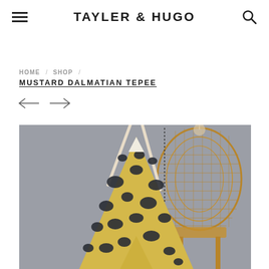TAYLER & HUGO
HOME / SHOP / MUSTARD DALMATIAN TEPEE
[Figure (photo): A mustard yellow dalmatian-print tepee toy with wooden poles sticking out of the top, displayed next to a wicker/rattan peacock chair, on a gray background.]